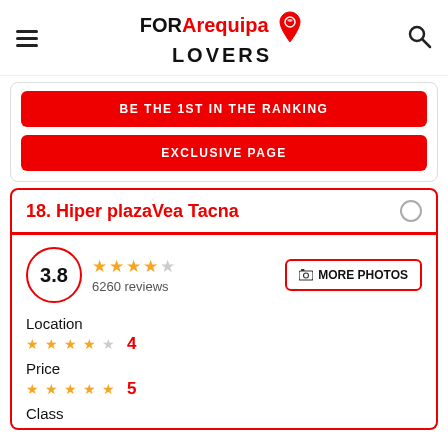FOR Arequipa LOVERS
BE THE 1ST IN THE RANKING
EXCLUSIVE PAGE
18. Hiper plazaVea Tacna
3.8 — 6260 reviews — MORE PHOTOS
Location
4 stars — 4
Price
5 stars — 5
Class